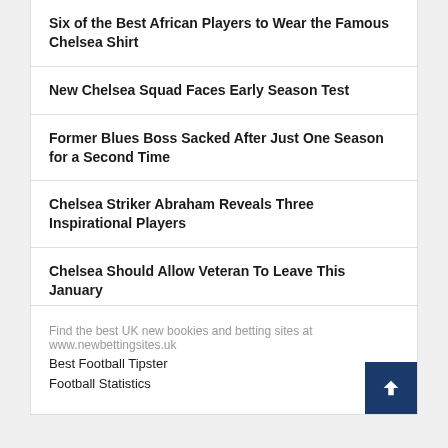Six of the Best African Players to Wear the Famous Chelsea Shirt
New Chelsea Squad Faces Early Season Test
Former Blues Boss Sacked After Just One Season for a Second Time
Chelsea Striker Abraham Reveals Three Inspirational Players
Chelsea Should Allow Veteran To Leave This January
Find the best UK new bookies and betting sites at www.newbettingsites.uk
Best Football Tipster
Football Statistics